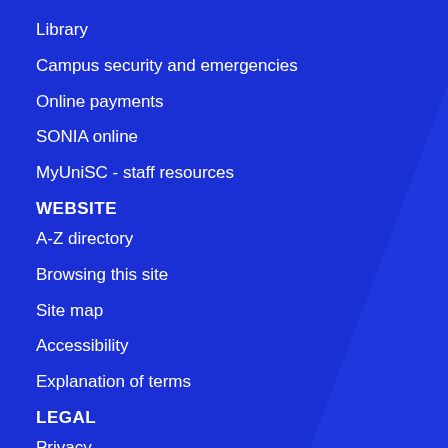Library
Campus security and emergencies
Online payments
SONIA online
MyUniSC - staff resources
WEBSITE
A-Z directory
Browsing this site
Site map
Accessibility
Explanation of terms
LEGAL
Privacy
Copyright